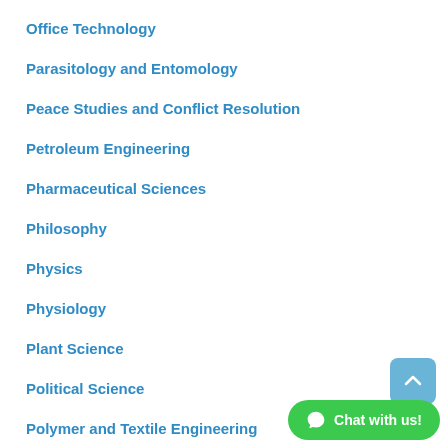Office Technology
Parasitology and Entomology
Peace Studies and Conflict Resolution
Petroleum Engineering
Pharmaceutical Sciences
Philosophy
Physics
Physiology
Plant Science
Political Science
Polymer and Textile Engineering
Private and Property Law